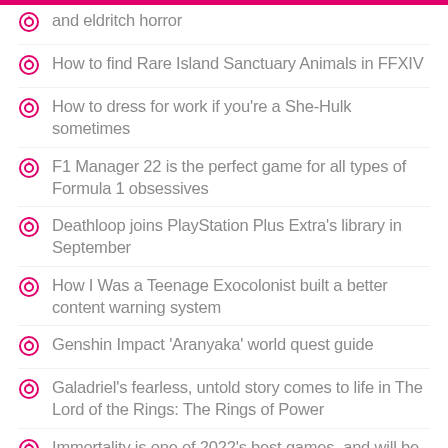and eldritch horror
How to find Rare Island Sanctuary Animals in FFXIV
How to dress for work if you're a She-Hulk sometimes
F1 Manager 22 is the perfect game for all types of Formula 1 obsessives
Deathloop joins PlayStation Plus Extra's library in September
How I Was a Teenage Exocolonist built a better content warning system
Genshin Impact 'Aranyaka' world quest guide
Galadriel's fearless, untold story comes to life in The Lord of the Rings: The Rings of Power
Immortality is one of 2022's best games, and will be